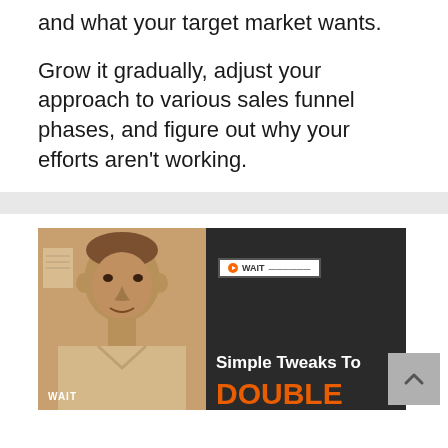and what your target market wants.
Grow it gradually, adjust your approach to various sales funnel phases, and figure out why your efforts aren’t working.
[Figure (screenshot): Video thumbnail showing a man on the left (sepia-toned), and on the right side dark background with text 'Simple Tweaks To DOUBLE' with orange color for DOUBLE, and a WAIT badge visible]
[Figure (other): Scroll-to-top button (gray, with upward chevron arrow)]